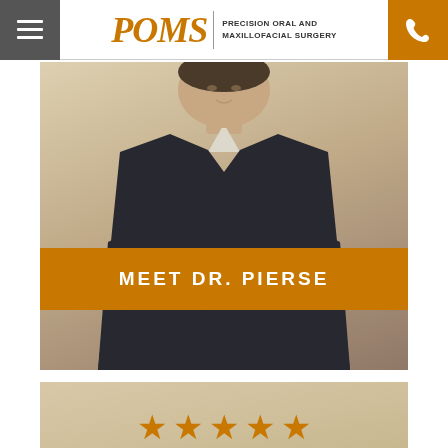POMS – Precision Oral and Maxillofacial Surgery
[Figure (photo): Doctor in dark scrubs with arms crossed, name tag reading 'Joseph B. Pierse', visible tattoo on forearm, standing against a neutral background]
MEET DR. PIERSE
[Figure (other): Five gold/orange star rating icons]